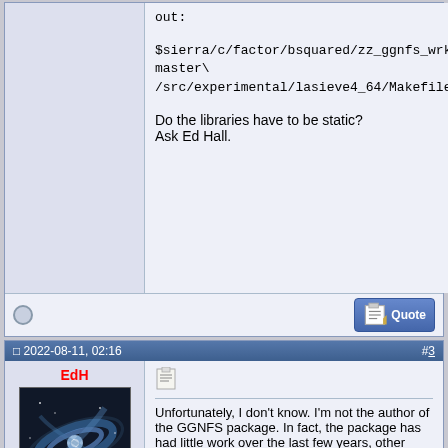out:
$sierra/c/factor/bsquared/zz_ggnfs_wrk/ggnfs-master\
/src/experimental/lasieve4_64/Makefile

Do the libraries have to be static?
Ask Ed Hall.
2022-08-11, 02:16  #3
EdH
[Figure (photo): Avatar image of a galaxy spiral]
"Ed Hall"
Dec 2009
Adirondack Mtns

3·37·43 Posts
Unfortunately, I don't know. I'm not the author of the GGNFS package. In fact, the package has had little work over the last few years, other than the patches. I would tend to think -static is not necessary, but I don't know. Perhaps someone else can offer some insight.
Post Reply
Previous Thread | Next Thread